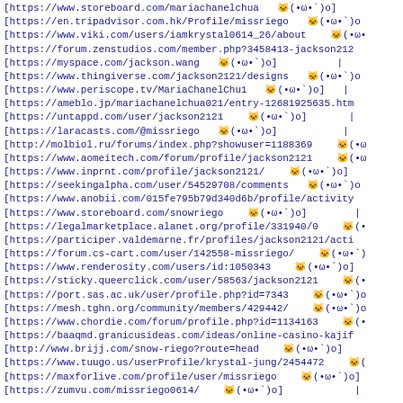[https://www.storeboard.com/mariachanelchua  🐱(•ω•`)o]
[https://en.tripadvisor.com.hk/Profile/missriego  🐱(•ω•`)o
[https://www.viki.com/users/iamkrystal0614_26/about  🐱(•ω•
[https://forum.zenstudios.com/member.php?3458413-jackson212
[https://myspace.com/jackson.wang  🐱(•ω•`)o]
[https://www.thingiverse.com/jackson2121/designs  🐱(•ω•`)o
[https://www.periscope.tv/MariaChanelChu1  🐱(•ω•`)o]
[https://ameblo.jp/mariachanelchua021/entry-12681925635.htm
[https://untappd.com/user/jackson2121  🐱(•ω•`)o]
[https://laracasts.com/@missriego  🐱(•ω•`)o]
[http://molbiol.ru/forums/index.php?showuser=1188369  🐱(•ω
[https://www.aomeitech.com/forum/profile/jackson2121  🐱(•ω
[https://www.inprnt.com/profile/jackson2121/  🐱(•ω•`)o]
[https://seekingalpha.com/user/54529708/comments  🐱(•ω•`)o
[https://www.anobii.com/015fe795b79d340d6b/profile/activity
[https://www.storeboard.com/snowriego  🐱(•ω•`)o]
[https://legalmarketplace.alanet.org/profile/331940/0  🐱(•ω
[https://participer.valdemarne.fr/profiles/jackson2121/acti
[https://forum.cs-cart.com/user/142558-missriego/  🐱(•ω•`)
[https://www.renderosity.com/users/id:1050343  🐱(•ω•`)o]
[https://sticky.queerclick.com/user/58563/jackson2121  🐱(•ω
[https://port.sas.ac.uk/user/profile.php?id=7343  🐱(•ω•`)o
[https://mesh.tghn.org/community/members/429442/  🐱(•ω•`)o
[https://www.chordie.com/forum/profile.php?id=1134163  🐱(•ω
[https://baaqmd.granicusideas.com/ideas/online-casino-kajif
[http://www.brijj.com/snow-riego?route=head  🐱(•ω•`)o]
[https://www.tuugo.us/userProfile/krystal-jung/2454472  🐱(
[https://maxforlive.com/profile/user/missriego  🐱(•ω•`)o]
[https://zumvu.com/missriego0614/  🐱(•ω•`)o]